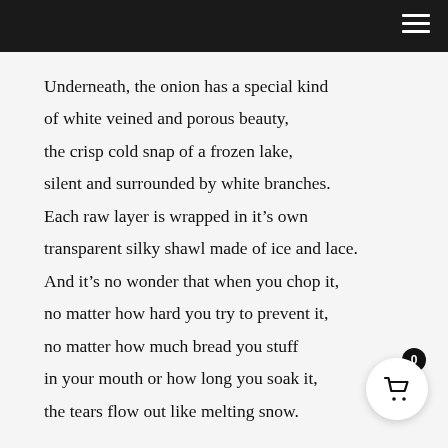Navigation bar with hamburger menu
Underneath, the onion has a special kind
of white veined and porous beauty,
the crisp cold snap of a frozen lake,
silent and surrounded by white branches.
Each raw layer is wrapped in it’s own
transparent silky shawl made of ice and lace.
And it’s no wonder that when you chop it,
no matter how hard you try to prevent it,
no matter how much bread you stuff
in your mouth or how long you soak it,
the tears flow out like melting snow.